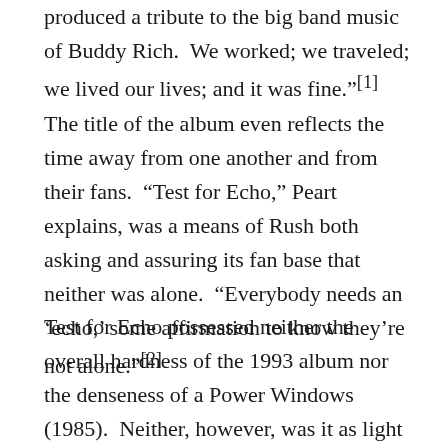produced a tribute to the big band music of Buddy Rich.  We worked; we traveled; we lived our lives; and it was fine."[1]  The title of the album even reflects the time away from one another and from their fans.  "Test for Echo," Peart explains, was a means of Rush both asking and assuring its fan base that neither was alone.  "Everybody needs an ‘echo,’ some affirmation to know they’re not alone."[2]
Test for Echo possessed neither the overall hardness of the 1993 album nor the denseness of a Power Windows (1985).  Neither, however, was it as light and sleek as Presto (1989) had been.  Instead, it sounds like almost nothing Rush had done before, and yet, it sounds almost like nothing Rush did after.  In the context of the history Rush, "Test for Echo" is, to be sure, its own creature.